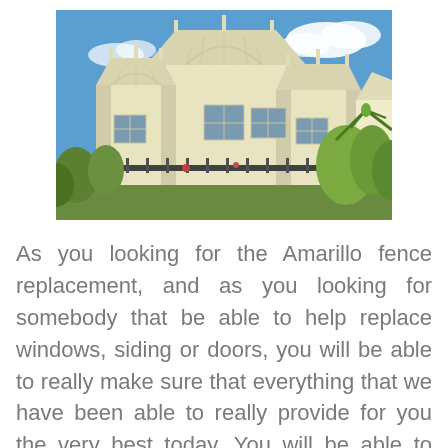[Figure (photo): Photograph of a cream/yellow Caribbean-style house with decorative white trim, arched window details, blue sky with white clouds, tropical plants and a fence in the foreground.]
As you looking for the Amarillo fence replacement, and as you looking for somebody that be able to help replace windows, siding or doors, you will be able to really make sure that everything that we have been able to really provide for you the very best today. You will be able to really make sure that this is